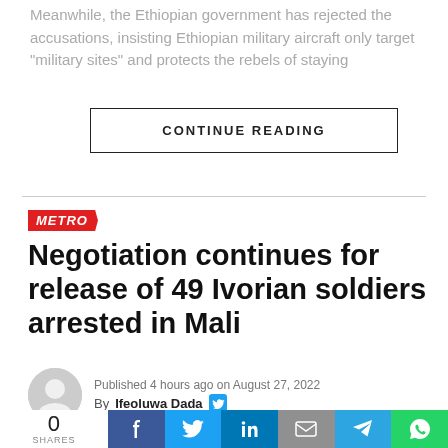Meanwhile, the Ethiopian government has rejected the accusations, insisting Ethiopian military aircraft only target "military sites" and protects the rebels of staying
CONTINUE READING
[Figure (infographic): METRO category badge in red with white italic bold text]
Negotiation continues for release of 49 Ivorian soldiers arrested in Mali
Published 4 hours ago on August 27, 2022
By Ifeoluwa Dada
[Figure (photo): Bottom strip showing a blurred news photo of vehicles and structures]
0 SHARES